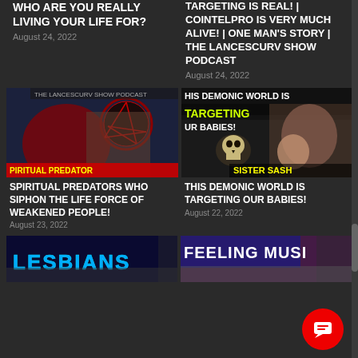WHO ARE YOU REALLY LIVING YOUR LIFE FOR?
August 24, 2022
TARGETING IS REAL! | COINTELPRO IS VERY MUCH ALIVE! | ONE MAN'S STORY | THE LANCESCURV SHOW PODCAST
August 24, 2022
[Figure (photo): Podcast thumbnail showing a demonic wolf and a person with text SPIRITUAL PREDATORS]
[Figure (photo): Podcast thumbnail showing a woman with a baby and text HIS DEMONIC WORLD IS TARGETING OUR BABIES and SISTER SASH]
SPIRITUAL PREDATORS WHO SIPHON THE LIFE FORCE OF WEAKENED PEOPLE!
August 23, 2022
THIS DEMONIC WORLD IS TARGETING OUR BABIES!
August 22, 2022
[Figure (photo): Partial thumbnail with text LESBIANS]
[Figure (photo): Partial thumbnail with text FEELING MUSIC]